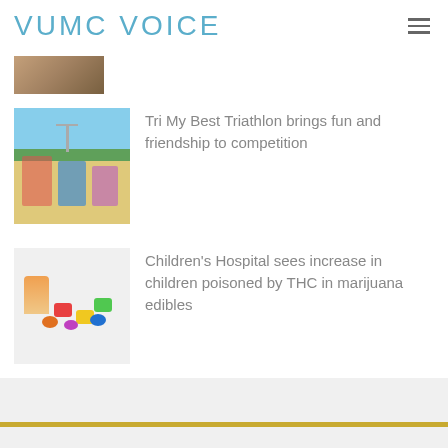VUMC VOICE
[Figure (photo): Partially visible thumbnail image at top of page]
[Figure (photo): Outdoor triathlon scene with colorful participants]
Tri My Best Triathlon brings fun and friendship to competition
[Figure (photo): Close-up of colorful gummy candy edibles on white surface]
Children’s Hospital sees increase in children poisoned by THC in marijuana edibles
VUMC Publications
Calendar & Events